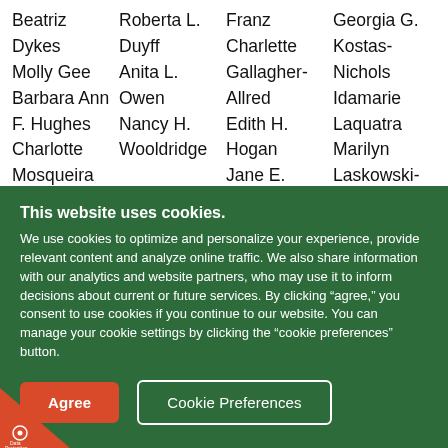Beatriz Dykes
Molly Gee
Barbara Ann F. Hughes
Charlotte Mosqueira
Jody L.
Roberta L. Duyff
Anita L. Owen
Nancy H. Wooldridge
Franz Charlette Gallagher-Allred
Edith H. Hogan
Jane E. Libby
Carlene
Georgia G. Kostas-Nichols
Idamarie Laquatra
Marilyn Laskowski-Sachnoff
This website uses cookies.
We use cookies to optimize and personalize your experience, provide relevant content and analyze online traffic. We also share information with our analytics and website partners, who may use it to inform decisions about current or future services. By clicking “agree,” you consent to use cookies if you continue to our website. You can manage your cookie settings by clicking the “cookie preferences” button.